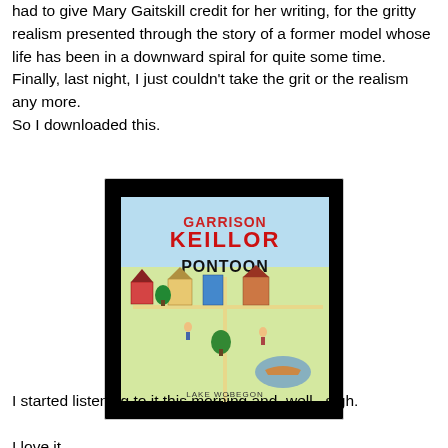had to give Mary Gaitskill credit for her writing, for the gritty realism presented through the story of a former model whose life has been in a downward spiral for quite some time. Finally, last night, I just couldn't take the grit or the realism any more.
So I downloaded this.
[Figure (photo): Book cover of 'Pontoon' by Garrison Keillor – a Lake Wobegon story. Cover shows illustrated town scenes on a yellow/green background with red and black text. Displayed against a black background.]
I started listening to it this morning and, well...sigh.

I love it.